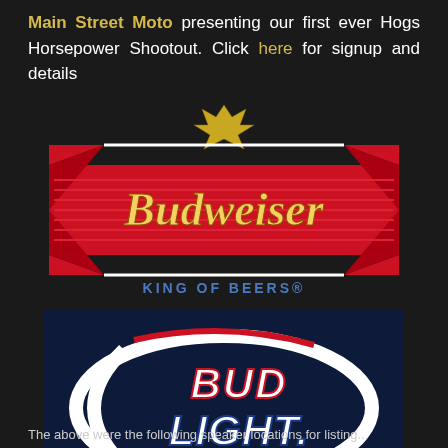Main Street Moto presenting our first ever Hogs Horsepower Shootout. Click here for signup and details
[Figure (logo): Budweiser logo - red bowtie/bow shape with gold crown on top, cursive 'Budweiser' text in gold/white, 'King of Beers' tagline in blue below, on dark background]
[Figure (logo): Bud Light logo - dark navy blue rectangular background with white oval/ellipse swoosh design and bold white italic 'BUD LIGHT.' text with red and blue outline accents]
The above were the following speaker locations for listing...